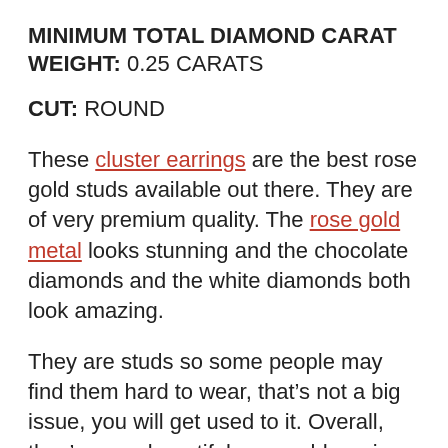MINIMUM TOTAL DIAMOND CARAT WEIGHT: 0.25 CARATS
CUT: ROUND
These cluster earrings are the best rose gold studs available out there. They are of very premium quality. The rose gold metal looks stunning and the chocolate diamonds and the white diamonds both look amazing.
They are studs so some people may find them hard to wear, that’s not a big issue, you will get used to it. Overall, they’re very beautiful rose gold earrings.
PROS: